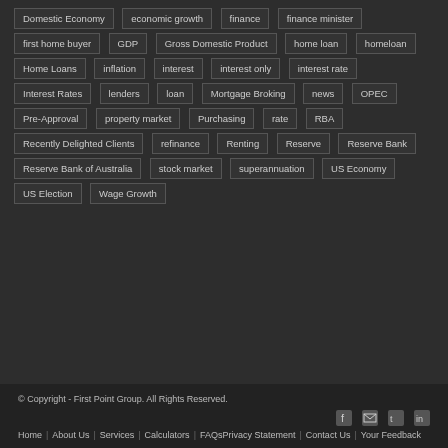Domestic Economy, economic growth, finance, finance minister, first home buyer, GDP, Gross Domestic Product, home loan, homeloan, Home Loans, inflation, interest, interest only, interest rate, Interest Rates, lenders, loan, Mortgage Broking, news, OPEC, Pre-Approval, property market, Purchasing, rate, RBA, Recently Delighted Clients, refinance, Renting, Reserve, Reserve Bank, Reserve Bank of Australia, stock market, superannuation, US Economy, US Election, Wage Growth
© Copyright - First Point Group. All Rights Reserved. | Home | About Us | Services | Calculators | FAQs | Privacy Statement | Contact Us | Your Feedback